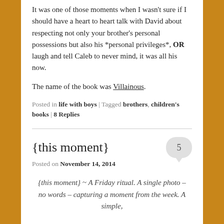It was one of those moments when I wasn't sure if I should have a heart to heart talk with David about respecting not only your brother's personal possessions but also his *personal privileges*, OR laugh and tell Caleb to never mind, it was all his now.
The name of the book was Villainous.
Posted in life with boys | Tagged brothers, children's books | 8 Replies
{this moment}
Posted on November 14, 2014
{this moment} ~ A Friday ritual. A single photo – no words – capturing a moment from the week. A simple,